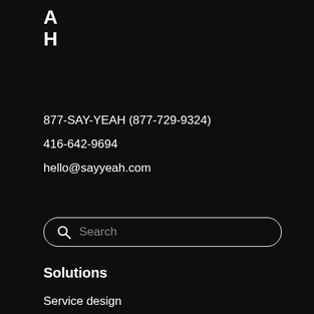[Figure (logo): AH logo mark with letters A and H stacked vertically in bold white text on dark background]
877-SAY-YEAH (877-729-9324)
416-642-9694
hello@sayyeah.com
[Figure (other): Search input box with magnifying glass icon and placeholder text 'Search', white border, rounded corners on dark background]
Solutions
Service design
Product strategy
Market & user research
Inclusive design